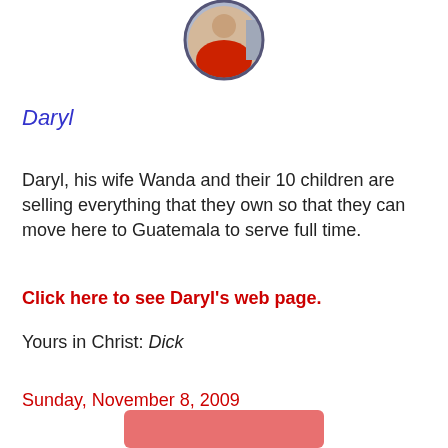[Figure (photo): Circular framed photo showing a person in red clothing, partially visible at top of page]
Daryl
Daryl, his wife Wanda and their 10 children are selling everything that they own so that they can move here to Guatemala to serve full time.
Click here to see Daryl's web page.
Yours in Christ: Dick
Sunday, November 8, 2009
[Figure (photo): Partial image visible at bottom of page, appears to be another photo]